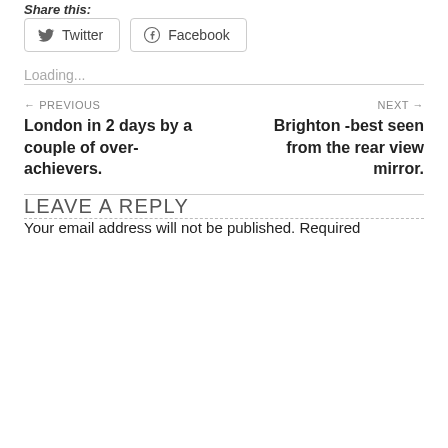Share this:
Twitter  Facebook
Loading...
← PREVIOUS
London in 2 days by a couple of over-achievers.
NEXT →
Brighton -best seen from the rear view mirror.
LEAVE A REPLY
Your email address will not be published. Required fields are marked